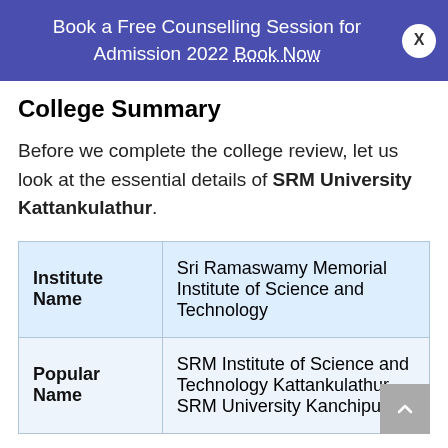Book a Free Counselling Session for Admission 2022 Book Now
College Summary
Before we complete the college review, let us look at the essential details of SRM University Kattankulathur.
| Institute Name | Sri Ramaswamy Memorial Institute of Science and Technology |
| Popular Name | SRM Institute of Science and Technology Kattankulathur, SRM University Kanchipuram |